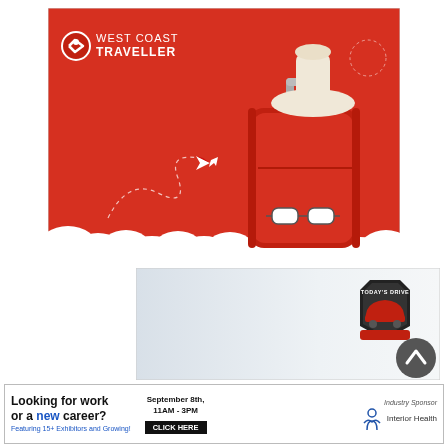[Figure (illustration): West Coast Traveller advertisement: red background with a red suitcase, white sun hat, sunglasses resting on suitcase, white paper airplane flying a dashed loop path, white cloud formations at bottom. Logo top-left reads WEST COAST TRAVELLER with a red circular arrow icon.]
[Figure (illustration): Today's Drive banner advertisement with shield logo containing a red car silhouette and text TODAY'S DRIVE, on a light gray/white gradient background.]
[Figure (infographic): Job fair advertisement banner: Left section bold text 'Looking for work or a new career? Featuring 15+ Exhibitors and Growing!' Middle section 'September 8th, 11AM - 3PM' with black CLICK HERE button. Right section 'Industry Sponsor' with Interior Health logo (blue figure icon and text).]